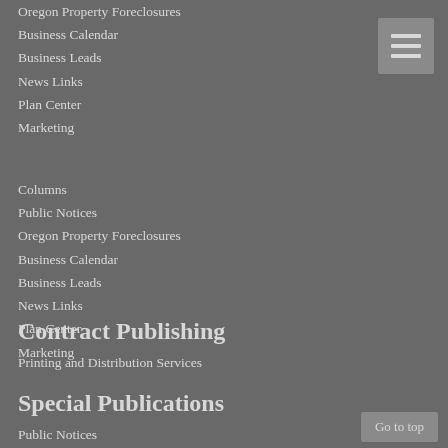Oregon Property Foreclosures
Business Calendar
Business Leads
News Links
Plan Center
Marketing
Columns
Public Notices
Oregon Property Foreclosures
Business Calendar
Business Leads
News Links
Plan Center
Marketing
Contract Publishing
Printing and Distribution Services
Special Publications
Public Notices